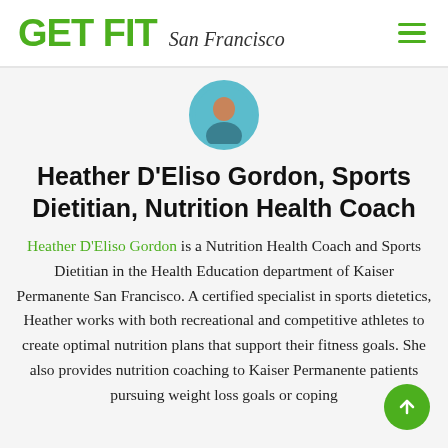GET FIT San Francisco
[Figure (photo): Circular profile photo of Heather D'Eliso Gordon with teal/turquoise background]
Heather D'Eliso Gordon, Sports Dietitian, Nutrition Health Coach
Heather D'Eliso Gordon is a Nutrition Health Coach and Sports Dietitian in the Health Education department of Kaiser Permanente San Francisco. A certified specialist in sports dietetics, Heather works with both recreational and competitive athletes to create optimal nutrition plans that support their fitness goals. She also provides nutrition coaching to Kaiser Permanente patients pursuing weight loss goals or coping